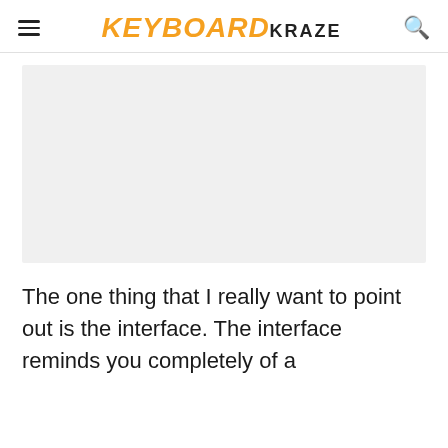KEYBOARD KRAZE
[Figure (photo): Large light gray rectangular image placeholder area]
The one thing that I really want to point out is the interface. The interface reminds you completely of a